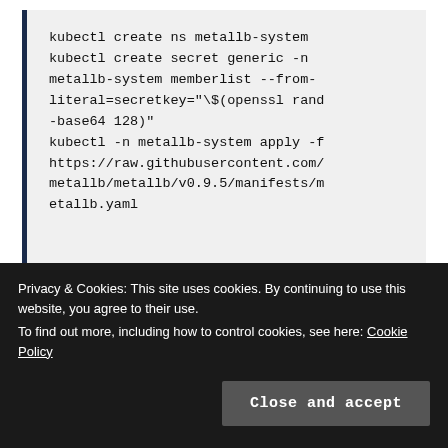kubectl create ns metallb-system
kubectl create secret generic -n metallb-system memberlist --from-literal=secretkey="\$(openssl rand -base64 128)"
kubectl -n metallb-system apply -f https://raw.githubusercontent.com/metallb/metallb/v0.9.5/manifests/metallb.yaml
Run the following command to download the
Privacy & Cookies: This site uses cookies. By continuing to use this website, you agree to their use.
To find out more, including how to control cookies, see here: Cookie Policy